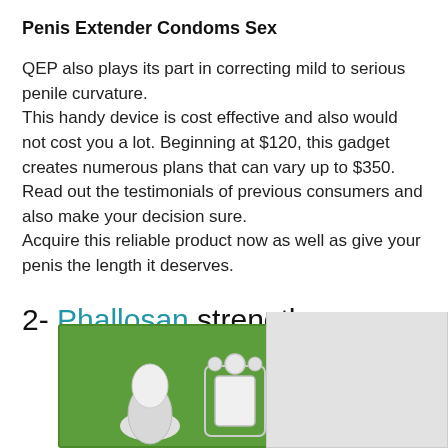Penis Extender Condoms Sex
QEP also plays its part in correcting mild to serious penile curvature.
This handy device is cost effective and also would not cost you a lot. Beginning at $120, this gadget creates numerous plans that can vary up to $350. Read out the testimonials of previous consumers and also make your decision sure.
Acquire this reliable product now as well as give your penis the length it deserves.
2- Phallosan strength
[Figure (photo): Product photo showing a Phallosan strength device kit in a green box with white medical device components, alongside a white panel/booklet]